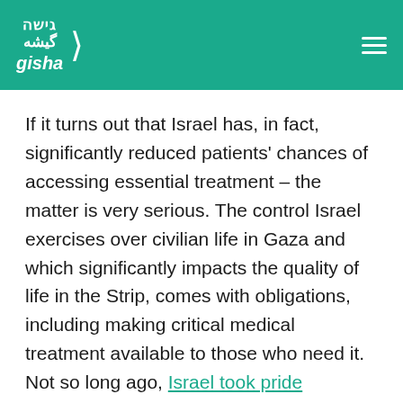Gisha — logo and navigation header
If it turns out that Israel has, in fact, significantly reduced patients' chances of accessing essential treatment – the matter is very serious. The control Israel exercises over civilian life in Gaza and which significantly impacts the quality of life in the Strip, comes with obligations, including making critical medical treatment available to those who need it. Not so long ago, Israel took pride (Hebrew) in the particularly high percentage of applications for treatment that get approved – more than 90%. COGAT's